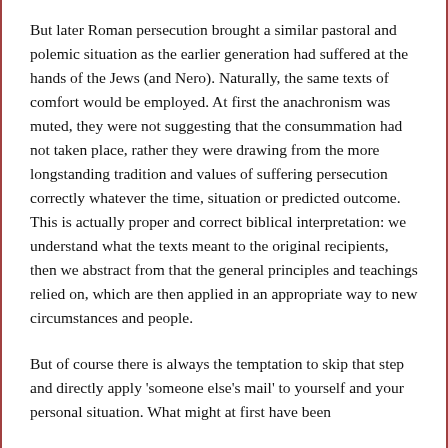But later Roman persecution brought a similar pastoral and polemic situation as the earlier generation had suffered at the hands of the Jews (and Nero). Naturally, the same texts of comfort would be employed. At first the anachronism was muted, they were not suggesting that the consummation had not taken place, rather they were drawing from the more longstanding tradition and values of suffering persecution correctly whatever the time, situation or predicted outcome. This is actually proper and correct biblical interpretation: we understand what the texts meant to the original recipients, then we abstract from that the general principles and teachings relied on, which are then applied in an appropriate way to new circumstances and people.
But of course there is always the temptation to skip that step and directly apply 'someone else's mail' to yourself and your personal situation. What might at first have been